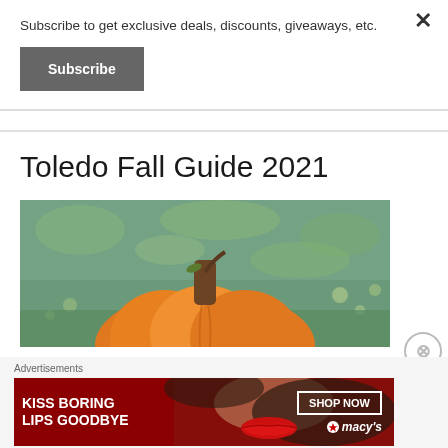Subscribe to get exclusive deals, discounts, giveaways, etc.
Subscribe
Toledo Fall Guide 2021
[Figure (photo): A large orange pumpkin with a brown stem sitting in green grass, close-up view from above]
Advertisements
[Figure (illustration): Macy's advertisement banner showing 'KISS BORING LIPS GOODBYE' with a woman's face showing red lips, and a 'SHOP NOW' button with the Macy's star logo]